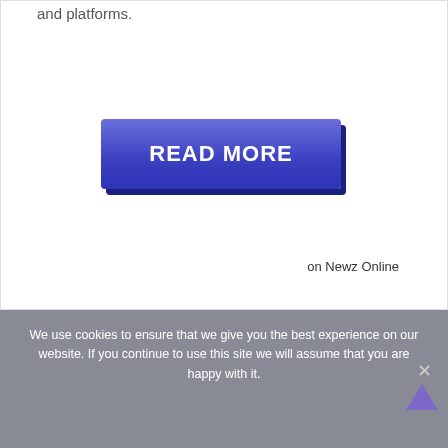and platforms.
[Figure (other): Blue 'READ MORE' button with 3D shadow effect, gradient blue background]
on Newz Online
We use cookies to ensure that we give you the best experience on our website. If you continue to use this site we will assume that you are happy with it.
You can also read: Transformers Battlegrounds Update 1.01 Patch Notes